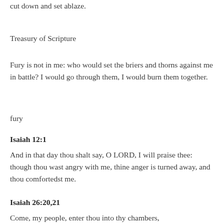cut down and set ablaze.
Treasury of Scripture
Fury is not in me: who would set the briers and thorns against me in battle? I would go through them, I would burn them together.
fury
Isaiah 12:1
And in that day thou shalt say, O LORD, I will praise thee: though thou wast angry with me, thine anger is turned away, and thou comfortedst me.
Isaiah 26:20,21
Come, my people, enter thou into thy chambers,